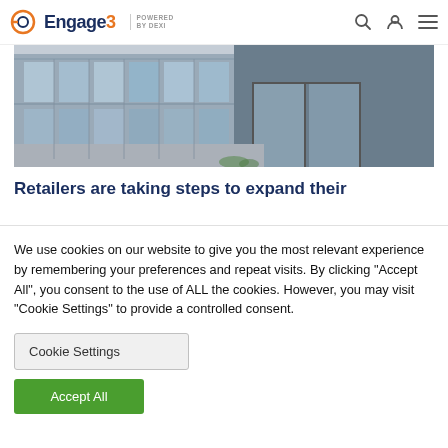Engage3 POWERED BY DEXI
[Figure (photo): Exterior photo of a modern glass and brick commercial building entrance with glass doors and facade]
Retailers are taking steps to expand their
We use cookies on our website to give you the most relevant experience by remembering your preferences and repeat visits. By clicking "Accept All", you consent to the use of ALL the cookies. However, you may visit "Cookie Settings" to provide a controlled consent.
Cookie Settings
Accept All